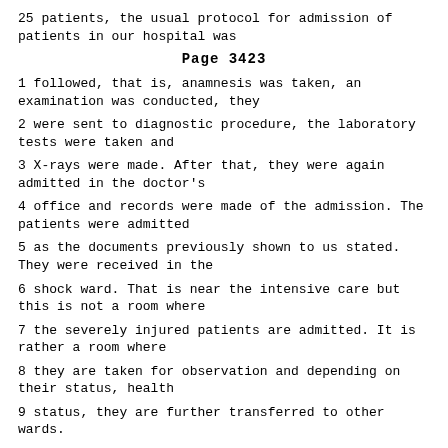25 patients, the usual protocol for admission of patients in our hospital was
Page 3423
1 followed, that is, anamnesis was taken, an examination was conducted, they
2 were sent to diagnostic procedure, the laboratory tests were taken and
3 X-rays were made. After that, they were again admitted in the doctor's
4 office and records were made of the admission. The patients were admitted
5 as the documents previously shown to us stated. They were received in the
6 shock ward. That is near the intensive care but this is not a room where
7 the severely injured patients are admitted. It is rather a room where
8 they are taken for observation and depending on their status, health
9 status, they are further transferred to other wards.
10 That shock room, shock ward, usually has